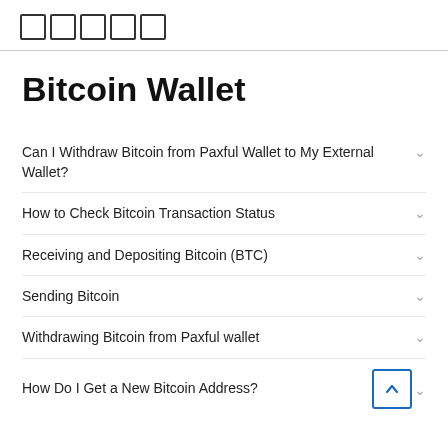□□□□□
Bitcoin Wallet
Can I Withdraw Bitcoin from Paxful Wallet to My External Wallet?
How to Check Bitcoin Transaction Status
Receiving and Depositing Bitcoin (BTC)
Sending Bitcoin
Withdrawing Bitcoin from Paxful wallet
How Do I Get a New Bitcoin Address?